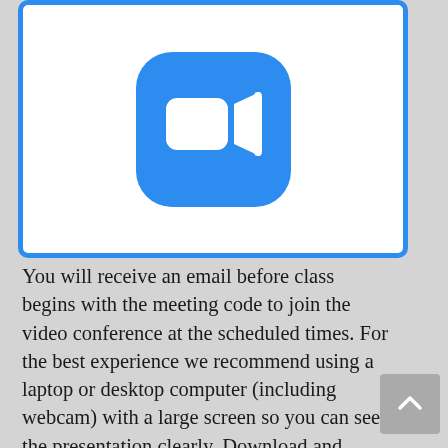[Figure (logo): Zoom video conferencing logo: blue rounded rectangle icon with white video camera symbol on blue background, inside a white box with blue border]
You will receive an email before class begins with the meeting code to join the video conference at the scheduled times. For the best experience we recommend using a laptop or desktop computer (including webcam) with a large screen so you can see the presentation clearly. Download and install the Zoom Client software to your computer, or join using just a web browser (Google Chrome